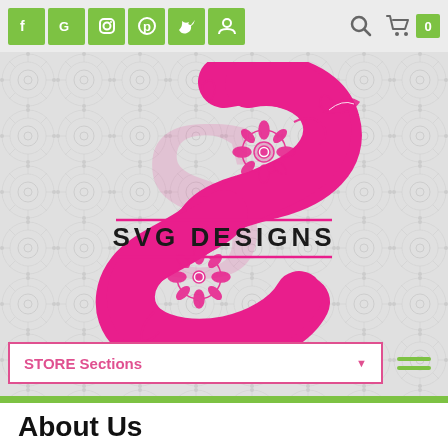f G [instagram] [pinterest] [twitter] [user] | [search] [cart] 0
[Figure (logo): SVG Designs logo featuring a decorative letter S in hot pink with floral/swirl motifs and the text SVG DESIGNS centered across the middle]
STORE Sections ▼
About Us
WELCOME